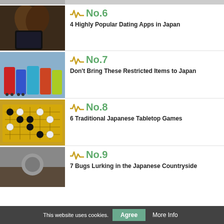No.6 — 4 Highly Popular Dating Apps in Japan
No.7 — Don't Bring These Restricted Items to Japan
No.8 — 6 Traditional Japanese Tabletop Games
No.9 — 7 Bugs Lurking in the Japanese Countryside
This website uses cookies.